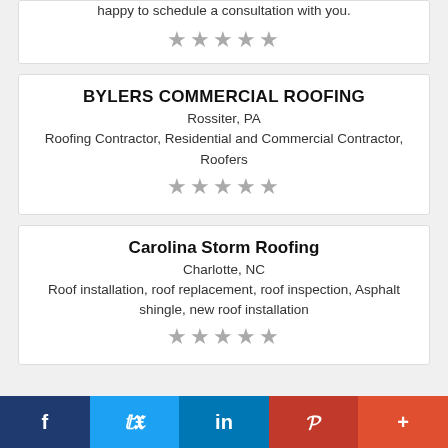happy to schedule a consultation with you.
[Figure (other): 5 grey stars rating]
BYLERS COMMERCIAL ROOFING
Rossiter, PA
Roofing Contractor, Residential and Commercial Contractor, Roofers
[Figure (other): 5 grey stars rating]
Carolina Storm Roofing
Charlotte, NC
Roof installation, roof replacement, roof inspection, Asphalt shingle, new roof installation
[Figure (other): 5 grey stars rating]
[Figure (infographic): Social media share bar with Facebook, Twitter, LinkedIn, Pinterest, and More buttons]